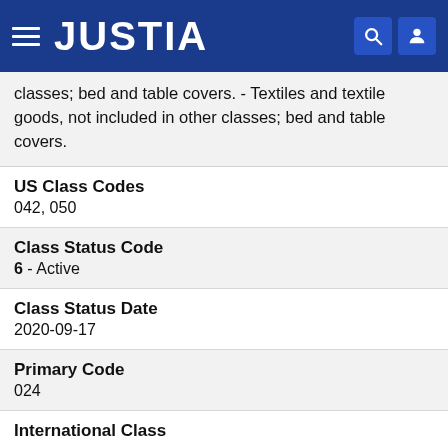JUSTIA
classes; bed and table covers. - Textiles and textile goods, not included in other classes; bed and table covers.
US Class Codes
042, 050
Class Status Code
6 - Active
Class Status Date
2020-09-17
Primary Code
024
International Class